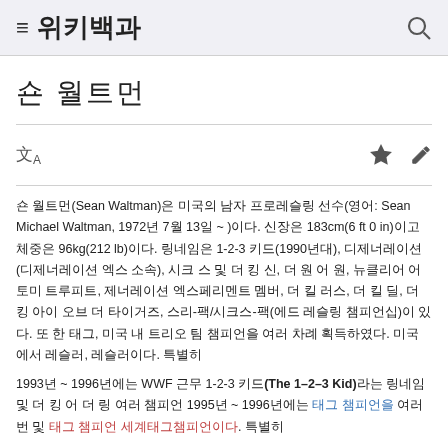≡ 위키백과 🔍
숀 월트먼
文A ☆ ✎
숀 월트먼(Sean Waltman)은 미국의 남자 프로레슬링 선수(영어: Sean Michael Waltman, 1972년 7월 13일 ~ )이다. 신장은 183cm(6 ft 0 in)이고 체중은 96kg(212 lb)이다. 링네임은 1-2-3 키드(1990년대), 시크스페이스(디제너레이션 엑스 소속), 시크스-팩 및 더 킹 신, 더 원 어 원, 뉴클리어스 토미 트루피트, 제너레이션 엑스페리멘트 멤버, 더 킬 러스, 더 킬 딜, 더 킹 아이 오브 더 타이거즈, 스리-팩/시크스-팩(에드 레슬링 챔피언십)이 있다. 또한 태그, 미국 내 트리오 팀 챔피언을 여러 차례 획득하였다. 미국에서 레슬러, 레슬러이다. 특별히 1993년 ~ 1996년에는 WWF 근무 1-2-3 키드(The 1–2–3 Kid)라는 링네임 및 더 킹 어 더 링 여러 챔피언 1995년 ~ 1996년에는 태그 챔피언을 여러 번 및 태그 챔피언 세계태그챔피언이다. 특별히 1996년 ~ 1998년에는 WCW 소속으로 더 킹(Syxx-Pac)으로 활동하는 챔피언이다. 1998년 ~ 2002년에는 WWF/WWE 소속으로 엑스-팩(X-Pac)으로 활동하는 여러 혜택 챔피언이다.